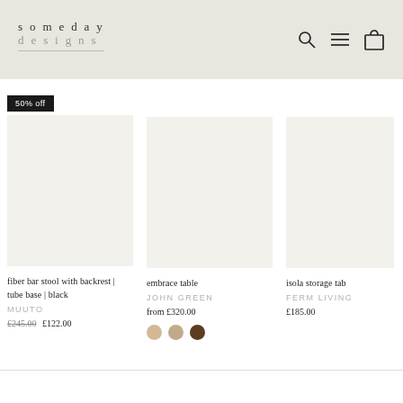someday designs
[Figure (screenshot): Product listing showing three items: fiber bar stool with backrest | tube base | black by MUUTO (50% off badge, was £245.00 now £122.00), embrace table by JOHN GREEN (from £320.00, three color swatches), isola storage tab... by FERM LIVING (£185.00)]
fiber bar stool with backrest | tube base | black
MUUTO
£245.00  £122.00
embrace table
JOHN GREEN
from £320.00
isola storage tab
FERM LIVING
£185.00